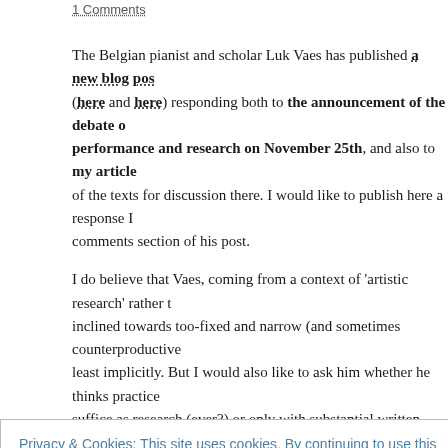1 Comments
The Belgian pianist and scholar Luk Vaes has published a new blog post (here and here) responding both to the announcement of the debate on performance and research on November 25th, and also to my article of the texts for discussion there. I would like to publish here a response I comments section of his post.
I do believe that Vaes, coming from a context of 'artistic research' rather than inclined towards too-fixed and narrow (and sometimes counterproductive) least implicitly. But I would also like to ask him whether he thinks practice suffice as research (ever?) or only with substantial written documentation often in wider literature on practice-as-research. And should these standards composition and performance?
The major objection given to documentation of practice is that research c
Privacy & Cookies: This site uses cookies. By continuing to use this website, you agree to their use.
To find out more, including how to control cookies, see here: Cookie Policy
Close and accept